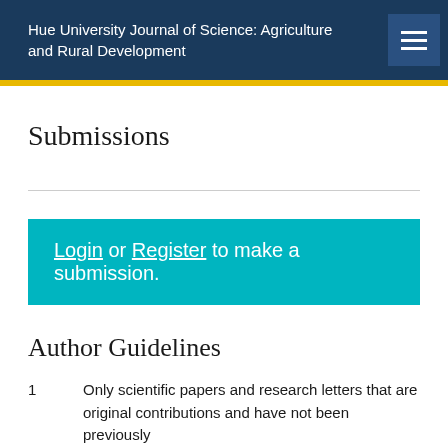Hue University Journal of Science: Agriculture and Rural Development
Submissions
Login or Register to make a submission.
Author Guidelines
1    Only scientific papers and research letters that are original contributions and have not been previously